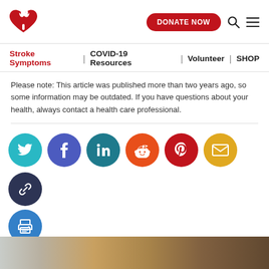[Figure (logo): American Heart Association flame-heart logo in red]
DONATE NOW
Stroke Symptoms | COVID-19 Resources | Volunteer | SHOP
Please note: This article was published more than two years ago, so some information may be outdated. If you have questions about your health, always contact a health care professional.
[Figure (infographic): Social sharing icon buttons: Twitter (teal), Facebook (blue-purple), LinkedIn (dark teal), Reddit (orange), Pinterest (red), Email (yellow), Link (dark navy), Print (blue)]
[Figure (photo): Bottom portion of a photo showing wooden furniture and a light-colored wall, cropped at the bottom of the page]